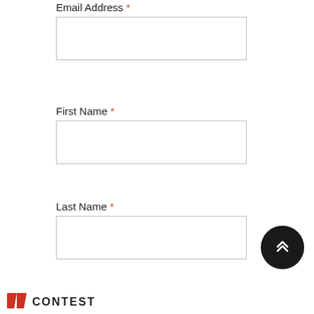Email Address *
First Name *
Last Name *
Zip Code *
Subscribe
[Figure (other): Scroll to top button — dark circle with double up-chevron icon]
// CONTEST